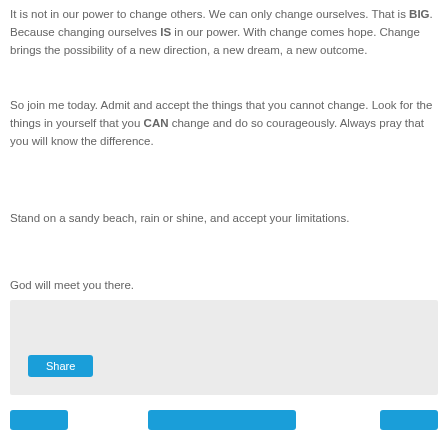It is not in our power to change others. We can only change ourselves. That is BIG. Because changing ourselves IS in our power. With change comes hope. Change brings the possibility of a new direction, a new dream, a new outcome.
So join me today. Admit and accept the things that you cannot change. Look for the things in yourself that you CAN change and do so courageously. Always pray that you will know the difference.
Stand on a sandy beach, rain or shine, and accept your limitations.
God will meet you there.
[Figure (other): A light gray sharing panel with a blue Share button]